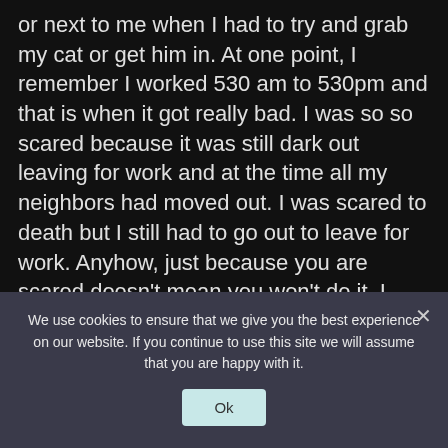or next to me when I had to try and grab my cat or get him in. At one point, I remember I worked 530 am to 530pm and that is when it got really bad. I was so so scared because it was still dark out leaving for work and at the time all my neighbors had moved out. I was scared to death but I still had to go out to leave for work. Anyhow, just because you are scared doesn't mean you won't do it. I was scared for death but at certain times I refused this asshole to make me live in fear entirely so sometimes I would do things I probably shouldn't have done as far as my safety. However, my personality of being fearless
We use cookies to ensure that we give you the best experience on our website. If you continue to use this site we will assume that you are happy with it.